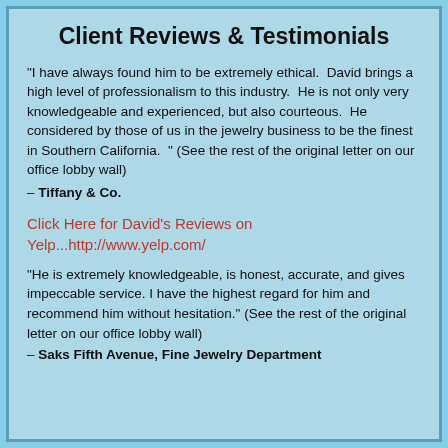Client Reviews & Testimonials
"I have always found him to be extremely ethical.  David brings a high level of professionalism to this industry.  He is not only very knowledgeable and experienced, but also courteous.  He considered by those of us in the jewelry business to be the finest in Southern California.  " (See the rest of the original letter on our office lobby wall)
– Tiffany & Co.
Click Here for David's Reviews on Yelp...http://www.yelp.com/
"He is extremely knowledgeable, is honest, accurate, and gives impeccable service. I have the highest regard for him and recommend him without hesitation." (See the rest of the original letter on our office lobby wall)
– Saks Fifth Avenue, Fine Jewelry Department